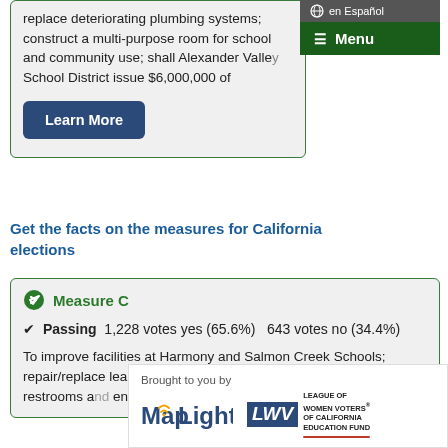en Español | Menu
replace deteriorating plumbing systems; construct a multi-purpose room for school and community use; shall Alexander Valley School District issue $6,000,000 of
Learn More
Get the facts on the measures for California elections
Measure C
Passing  1,228 votes yes (65.6%)  643 votes no (34.4%)
To improve facilities at Harmony and Salmon Creek Schools; repair/replace leaky roofs; improve ene... construct/re... restrooms an... environment...
Brought to you by MapLight | LEAGUE OF WOMEN VOTERS OF CALIFORNIA EDUCATION FUND